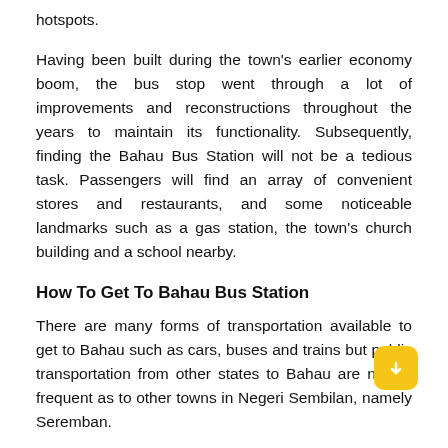hotspots.
Having been built during the town's earlier economy boom, the bus stop went through a lot of improvements and reconstructions throughout the years to maintain its functionality. Subsequently, finding the Bahau Bus Station will not be a tedious task. Passengers will find an array of convenient stores and restaurants, and some noticeable landmarks such as a gas station, the town's church building and a school nearby.
How To Get To Bahau Bus Station
There are many forms of transportation available to get to Bahau such as cars, buses and trains but public transportation from other states to Bahau are not as frequent as to other towns in Negeri Sembilan, namely Seremban.
The easiest method is still by bus, so travellers from Kuala Lumpur are advised to take buses from Terminal Bersepadu Selatan (TBS) as it directly arrives at the Bahau Bus Station. Bus tickets can be